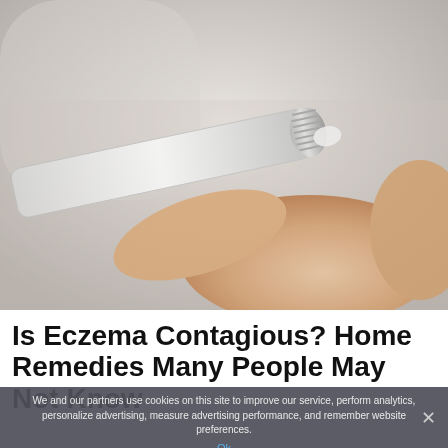[Figure (photo): Close-up photo of a hand squeezing cream from a white tube onto a fingertip, against a blurred white/grey background.]
Is Eczema Contagious? Home Remedies Many People May Not Know
We and our partners use cookies on this site to improve our service, perform analytics, personalize advertising, measure advertising performance, and remember website preferences.
Ok